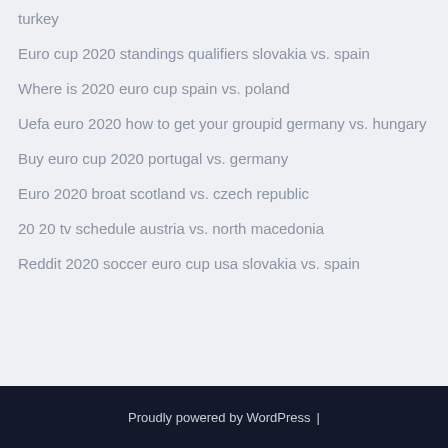turkey
Euro cup 2020 standings qualifiers slovakia vs. spain
Where is 2020 euro cup spain vs. poland
Uefa euro 2020 how to get your groupid germany vs. hungary
Buy euro cup 2020 portugal vs. germany
Euro 2020 broat scotland vs. czech republic
20 20 tv schedule austria vs. north macedonia
Reddit 2020 soccer euro cup usa slovakia vs. spain
Proudly powered by WordPress